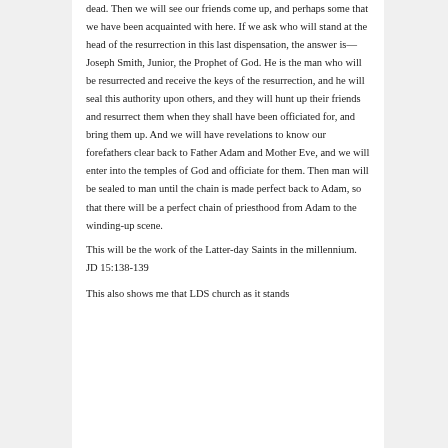dead. Then we will see our friends come up, and perhaps some that we have been acquainted with here. If we ask who will stand at the head of the resurrection in this last dispensation, the answer is—Joseph Smith, Junior, the Prophet of God. He is the man who will be resurrected and receive the keys of the resurrection, and he will seal this authority upon others, and they will hunt up their friends and resurrect them when they shall have been officiated for, and bring them up. And we will have revelations to know our forefathers clear back to Father Adam and Mother Eve, and we will enter into the temples of God and officiate for them. Then man will be sealed to man until the chain is made perfect back to Adam, so that there will be a perfect chain of priesthood from Adam to the winding-up scene.
This will be the work of the Latter-day Saints in the millennium. JD 15:138-139
This also shows me that LDS church as it stands